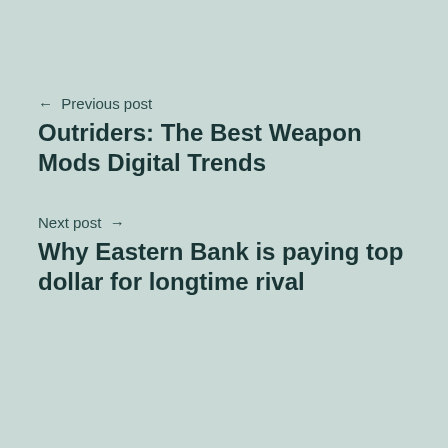← Previous post
Outriders: The Best Weapon Mods Digital Trends
Next post →
Why Eastern Bank is paying top dollar for longtime rival